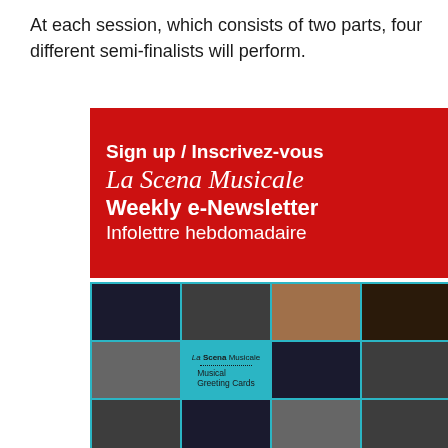At each session, which consists of two parts, four different semi-finalists will perform.
[Figure (infographic): Red advertisement banner for La Scena Musicale Weekly e-Newsletter / Infolettre hebdomadaire with white text on red background]
[Figure (photo): Photo collage grid on teal/cyan background showing multiple music-related images and a Musical Greeting Cards advertisement for La Scena Musicale in the center cell]